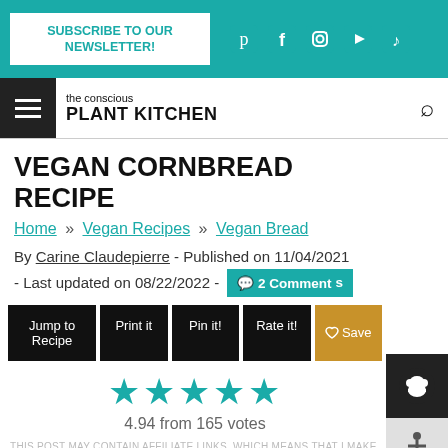SUBSCRIBE TO OUR NEWSLETTER!
the conscious PLANT KITCHEN
VEGAN CORNBREAD RECIPE
Home » Vegan Recipes » Vegan Bread
By Carine Claudepierre - Published on 11/04/2021 - Last updated on 08/22/2022 - 💬 2 Comments
Jump to Recipe
Print it
Pin it!
Rate it!
Save
4.94 from 165 votes
THIS POST MAY CONTAIN AFFILIATE LINKS, WHICH MEANS THAT I MAKE A